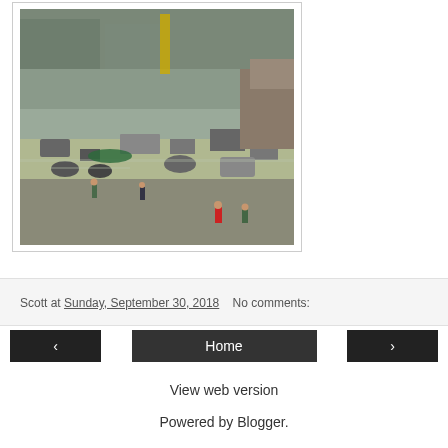[Figure (photo): Aerial or elevated view of disaster aftermath showing debris, flooded ground, scattered motorcycles and vehicles, people walking through destruction, likely tsunami or earthquake damage scene.]
Scott at Sunday, September 30, 2018   No comments:
‹
Home
›
View web version
Powered by Blogger.